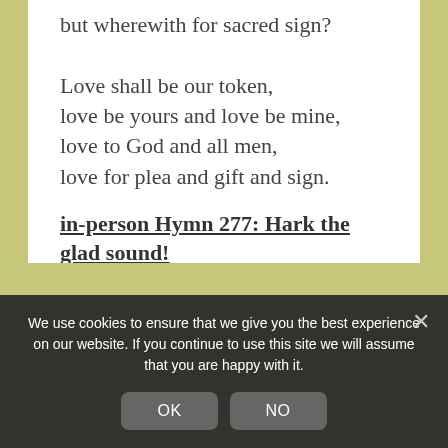but wherewith for sacred sign?

Love shall be our token,
love be yours and love be mine,
love to God and all men,
love for plea and gift and sign.
in-person Hymn 277: Hark the glad sound!
Hark the glad sound! the Saviour comes,
the Saviour promised long:
let every heart exult with joy,
and every voice with song!

He comes, the prisoners to relieve,
We use cookies to ensure that we give you the best experience on our website. If you continue to use this site we will assume that you are happy with it.